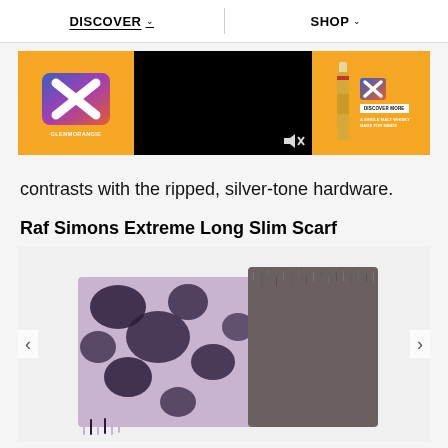DISCOVER  SHOP
[Figure (photo): Glenmorangie advertisement banner with orange background, abstract X logo on left, black video player in center with speaker/mute icon, and whisky bottle with 'DISCOVER MORE' button and tagline 'A SINGLE MALT WHISKY MADE FOR MINDS' on right]
contrasts with the ripped, silver-tone hardware.
Raf Simons Extreme Long Slim Scarf
[Figure (photo): Product photo of Raf Simons Extreme Long Slim Scarf showing a textured scarf with tie-dye pattern in black and lavender/pink tones on the left half and dark grey/brown fuzzy texture on the right half, displayed against white background with left and right navigation arrows]